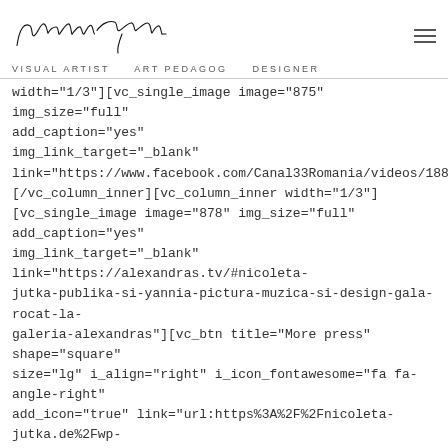Nicole Jutka. VISUAL ARTIST   ART PEDAGOG   DESIGNER
width="1/3"][vc_single_image image="875" img_size="full" add_caption="yes" onclick="custom_link" img_link_target="_blank" link="https://www.facebook.com/Canal33Romania/videos/18882 [/vc_column_inner][vc_column_inner width="1/3"] [vc_single_image image="878" img_size="full" add_caption="yes" onclick="custom_link" img_link_target="_blank" link="https://alexandras.tv/#nicoleta-jutka-publika-si-yannia-pictura-muzica-si-design-gala-rocat-la-galeria-alexandras"][vc_btn title="More press" shape="square" size="lg" i_align="right" i_icon_fontawesome="fa fa-angle-right" add_icon="true" link="url:https%3A%2F%2Fnicoleta-jutka.de%2Fwp-content%2Fuploads%2FPresse_2018.compressed.pdf|title:Pres el_class="buttonfull"][/vc_column_inner][/vc_row_inner] [/vc_column][/vc_row][vc_row padding_top="custom-padding"